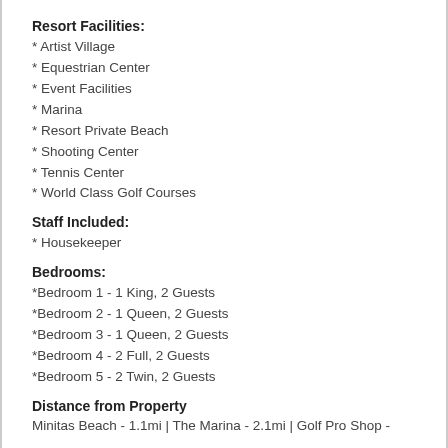Resort Facilities:
* Artist Village
* Equestrian Center
* Event Facilities
* Marina
* Resort Private Beach
* Shooting Center
* Tennis Center
* World Class Golf Courses
Staff Included:
* Housekeeper
Bedrooms:
*Bedroom 1 - 1 King, 2 Guests
*Bedroom 2 - 1 Queen, 2 Guests
*Bedroom 3 - 1 Queen, 2 Guests
*Bedroom 4 - 2 Full, 2 Guests
*Bedroom 5 - 2 Twin, 2 Guests
Distance from Property
Minitas Beach - 1.1mi | The Marina - 2.1mi | Golf Pro Shop -